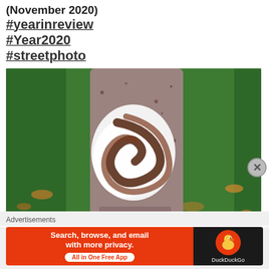(November 2020)
#yearinreview
#Year2020
#streetphoto
[Figure (photo): Close-up photo of a chocolate milkshake or drink in a cup with whipped cream swirled on top, sitting on grass with fallen leaves visible in the background.]
Advertisements
[Figure (screenshot): DuckDuckGo advertisement banner. Orange background on left with text: 'Search, browse, and email with more privacy. All in One Free App'. Dark/black background on right with DuckDuckGo duck logo circle and brand name 'DuckDuckGo'.]